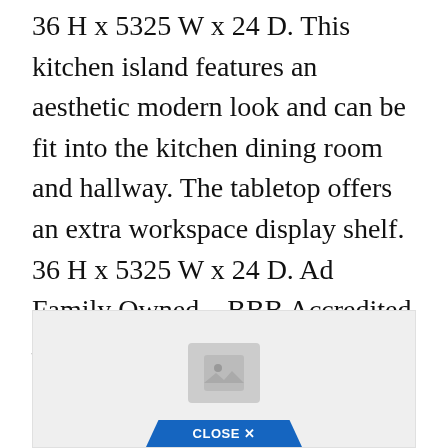36 H x 5325 W x 24 D. This kitchen island features an aesthetic modern look and can be fit into the kitchen dining room and hallway. The tabletop offers an extra workspace display shelf. 36 H x 5325 W x 24 D. Ad Family Owned – BBB Accredited – Home Work Installation – The Highest Quality Materials.
[Figure (other): Advertisement placeholder box with image icon and a blue triangular CLOSE X button at the bottom]